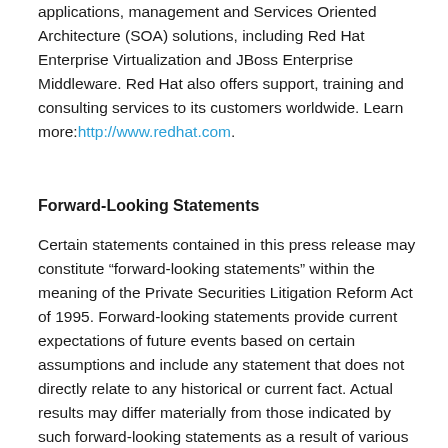applications, management and Services Oriented Architecture (SOA) solutions, including Red Hat Enterprise Virtualization and JBoss Enterprise Middleware. Red Hat also offers support, training and consulting services to its customers worldwide. Learn more: http://www.redhat.com.
Forward-Looking Statements
Certain statements contained in this press release may constitute “forward-looking statements” within the meaning of the Private Securities Litigation Reform Act of 1995. Forward-looking statements provide current expectations of future events based on certain assumptions and include any statement that does not directly relate to any historical or current fact. Actual results may differ materially from those indicated by such forward-looking statements as a result of various important factors, including: risks related to delays or